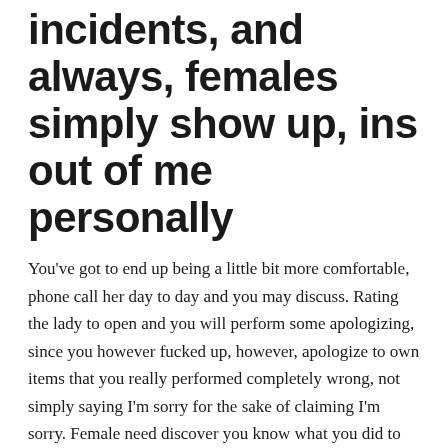incidents, and always, females simply show up, ins out of me personally
You've got to end up being a little bit more comfortable, phone call her day to day and you may discuss. Rating the lady to open and you will perform some apologizing, since you however fucked up, however, apologize to own items that you really performed completely wrong, not simply saying I'm sorry for the sake of claiming I'm sorry. Female need discover you know what you did to help you damage him or her. Merely claiming “I'm sorry” feels as though seeking to place a band-aid towards the a beneficial gunshot wound.